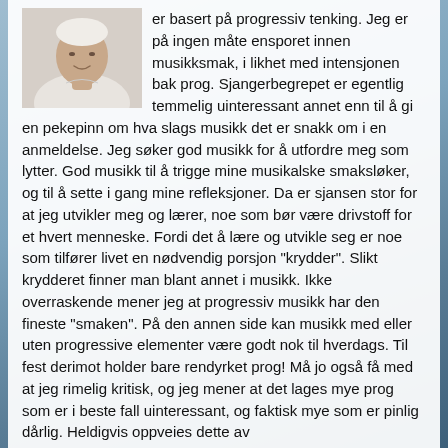[Figure (photo): Portrait photo of a person wearing a light-coloured top, cropped to head and upper torso, floating left at top of text block.]
er basert på progressiv tenking. Jeg er på ingen måte ensporet innen musikksmak, i likhet med intensjonen bak prog. Sjangerbegrepet er egentlig temmelig uinteressant annet enn til å gi en pekepinn om hva slags musikk det er snakk om i en anmeldelse. Jeg søker god musikk for å utfordre meg som lytter. God musikk til å trigge mine musikalske smaksløker, og til å sette i gang mine refleksjoner. Da er sjansen stor for at jeg utvikler meg og lærer, noe som bør være drivstoff for et hvert menneske. Fordi det å lære og utvikle seg er noe som tilfører livet en nødvendig porsjon "krydder". Slikt krydderet finner man blant annet i musikk. Ikke overraskende mener jeg at progressiv musikk har den fineste "smaken". På den annen side kan musikk med eller uten progressive elementer være godt nok til hverdags. Til fest derimot holder bare rendyrket prog! Må jo også få med at jeg rimelig kritisk, og jeg mener at det lages mye prog som er i beste fall uinteressant, og faktisk mye som er pinlig dårlig. Heldigvis oppveies dette av